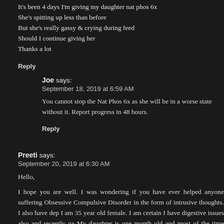It's been 4 days I'm giving my daughter nat phos 6x
She's spitting up less than before
But she's really gassy & crying during feed
Should I continue giving her
Thanks a lot
Reply
Joe says:
September 18, 2019 at 6:59 AM
You cannot stop the Nat Phos 6x as she will be in a worse state without it. Report progress in 48 hours.
Reply
Preeti says:
September 20, 2019 at 6:30 AM
Hello,
I hope you are well. I was wondering if you have ever helped anyone suffering Obsessive Compulsive Disorder in the form of intrusive thoughts. I also have dep I am 35 year old female. I am certain I have digestive issues also and recently ga My daughter is one month old and most of the time seems to be in pain (a stiffening of body, crying, burping, excessive gas). She always wants to feed but w refuse breastfeeding initially and then eventually will breast feed. She moves exco while breastfeeding. She also makes high pitched breathing sounds during feeding my letdown for breastmilk is also very fast. I burp her often and give her small fe